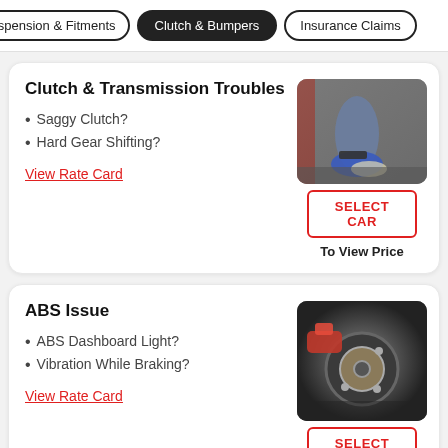Suspension & Fitments | Clutch & Bumpers | Insurance Claims
Clutch & Transmission Troubles
Saggy Clutch?
Hard Gear Shifting?
View Rate Card
[Figure (photo): Person pressing clutch pedal in a car, wearing blue sneakers]
SELECT CAR
To View Price
ABS Issue
ABS Dashboard Light?
Vibration While Braking?
View Rate Card
[Figure (photo): Mechanic working on car brake/ABS assembly with red gloves]
SELECT CAR
To View Price